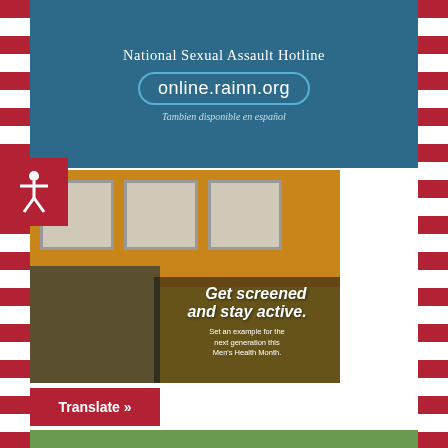[Figure (screenshot): Dark blue banner for National Sexual Assault Hotline showing website online.rainn.org in an oval border, with italic Spanish text 'Tambien disponible en español']
National Sexual Assault Hotline
online.rainn.org
Tambien disponible en español
[Figure (photo): Photo of a building with shuttered windows and two people standing/sitting near a yellow wall. Overlaid text reads 'Get screened and stay active.' and 'Set an example for the next generation this Men's Health Month.']
Get screened and stay active.
Set an example for the next generation this Men's Health Month.
Translate »